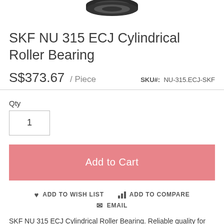[Figure (photo): Partial view of SKF cylindrical roller bearing, dark colored, shown from above cropped at top of frame]
SKF NU 315 ECJ Cylindrical Roller Bearing
S$373.67 / Piece    SKU#: NU-315.ECJ-SKF
Qty
1
Add to Cart
ADD TO WISH LIST    ADD TO COMPARE    EMAIL
SKF NU 315 ECJ Cylindrical Roller Bearing. Reliable quality for